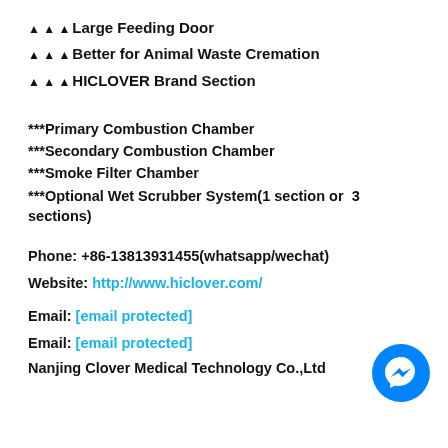▲ ▲ ▲Large Feeding Door
▲ ▲ ▲Better for Animal Waste Cremation
▲ ▲ ▲HICLOVER Brand Section
***Primary Combustion Chamber
***Secondary Combustion Chamber
***Smoke Filter Chamber
***Optional Wet Scrubber System(1 section or 3 sections)
Phone: +86-13813931455(whatsapp/wechat)
Website: http://www.hiclover.com/
Email: [email protected]
Email: [email protected]
Nanjing Clover Medical Technology Co.,Ltd